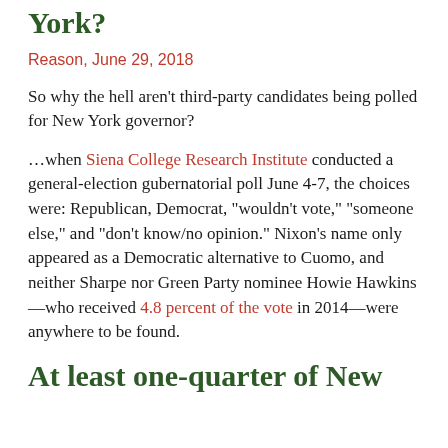York?
Reason, June 29, 2018
So why the hell aren't third-party candidates being polled for New York governor?
...when Siena College Research Institute conducted a general-election gubernatorial poll June 4-7, the choices were: Republican, Democrat, "wouldn't vote," "someone else," and "don't know/no opinion." Nixon's name only appeared as a Democratic alternative to Cuomo, and neither Sharpe nor Green Party nominee Howie Hawkins—who received 4.8 percent of the vote in 2014—were anywhere to be found.
At least one-quarter of New